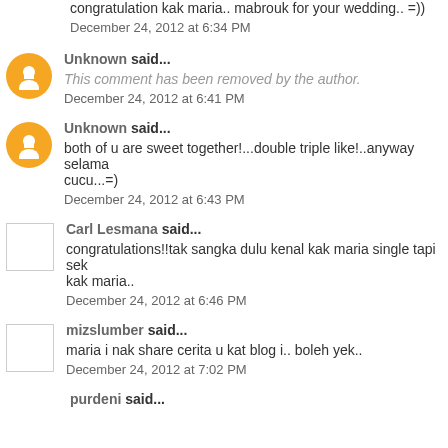congratulation kak maria.. mabrouk for your wedding.. =))
December 24, 2012 at 6:34 PM
Unknown said...
This comment has been removed by the author.
December 24, 2012 at 6:41 PM
Unknown said...
both of u are sweet together!...double triple like!..anyway selama... cucu...=)
December 24, 2012 at 6:43 PM
Carl Lesmana said...
congratulations!!tak sangka dulu kenal kak maria single tapi sek... kak maria..
December 24, 2012 at 6:46 PM
mizslumber said...
maria i nak share cerita u kat blog i.. boleh yek..
December 24, 2012 at 7:02 PM
purdeni said...